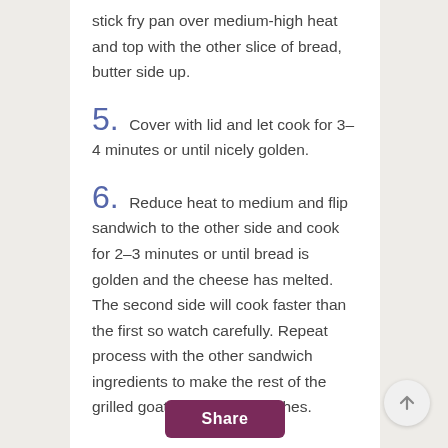stick fry pan over medium-high heat and top with the other slice of bread, butter side up.
5. Cover with lid and let cook for 3–4 minutes or until nicely golden.
6. Reduce heat to medium and flip sandwich to the other side and cook for 2–3 minutes or until bread is golden and the cheese has melted. The second side will cook faster than the first so watch carefully. Repeat process with the other sandwich ingredients to make the rest of the grilled goat cheese sandwiches.
Share